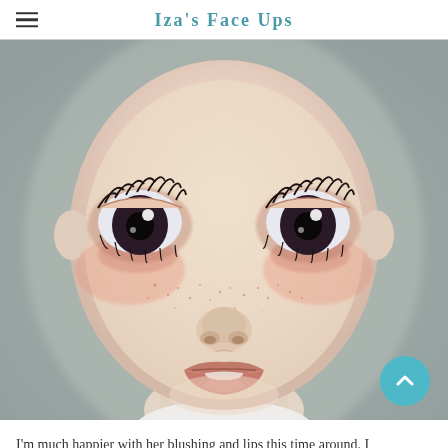Iza's Face Ups
[Figure (photo): Close-up photo of a BJD (ball-jointed doll) face with realistic painted features including large dark eyes with eyelashes, freckles on cheeks, rosy blushing, and slightly open lips showing teeth. The doll has a pale porcelain complexion against a blurred gray background.]
I'm much happier with her blushing and lips this time around. I